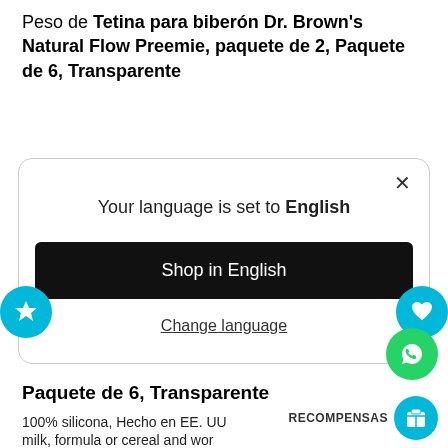Peso de Tetina para biberón Dr. Brown's Natural Flow Preemie, paquete de 2, Paquete de 6, Transparente
[Figure (screenshot): Modal dialog box with language selection. Shows 'Your language is set to English', a black button 'Shop in English', and a 'Change language' underlined link. Has a close (X) button in top right. Two cyan circle buttons on left and right edges (star and heart icons).]
Paquete de 6, Transparente
100% silicona, Hecho en EE. UU
milk, formula or cereal and wor
for paced feeding. Each Y-Cut Nipple has same consistent